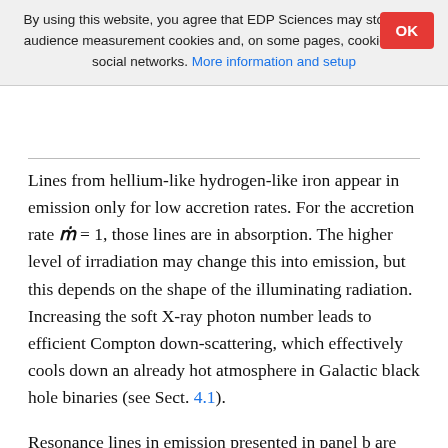By using this website, you agree that EDP Sciences may store web audience measurement cookies and, on some pages, cookies from social networks. More information and setup
Lines from hellium-like hydrogen-like iron appear in emission only for low accretion rates. For the accretion rate ṁ = 1, those lines are in absorption. The higher level of irradiation may change this into emission, but this depends on the shape of the illuminating radiation. Increasing the soft X-ray photon number leads to efficient Compton down-scattering, which effectively cools down an already hot atmosphere in Galactic black hole binaries (see Sect. 4.1).
Resonance lines in emission presented in panel b are very wide and do not show any limb brightening. We suppose that this wide profile is caused by Compton